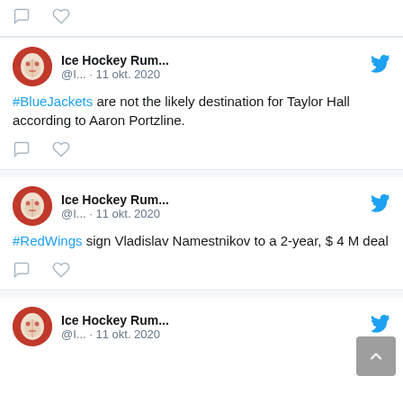[Figure (screenshot): Partial top tweet card showing only action icons (comment and heart)]
Ice Hockey Rum... @I... · 11 okt. 2020
#BlueJackets are not the likely destination for Taylor Hall according to Aaron Portzline.
Ice Hockey Rum... @I... · 11 okt. 2020
#RedWings sign Vladislav Namestnikov to a 2-year, $ 4 M deal
Ice Hockey Rum... @I... · 11 okt. 2020 (partial)